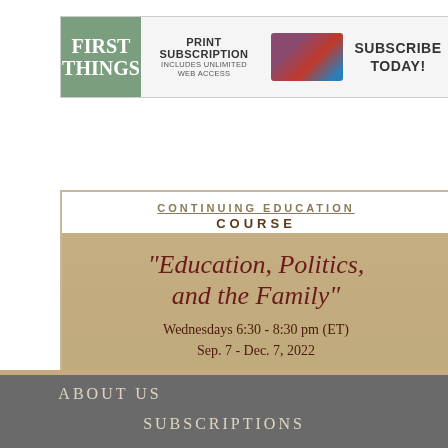[Figure (infographic): First Things magazine banner ad: Print Subscription includes unlimited web access, Subscribe Today!]
[Figure (infographic): Pontifical John Paul II Institute continuing education course ad: Education, Politics, and the Family. Wednesdays 6:30 - 8:30 pm (ET), Sep. 7 - Dec. 7, 2022. Register Now button.]
ABOUT US
SUBSCRIPTIONS